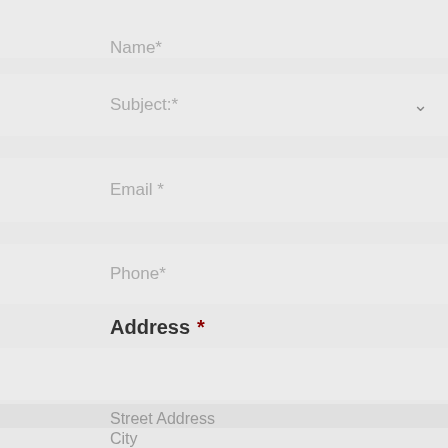Name*
Subject:*
Email *
Phone*
Address *
Street Address
City